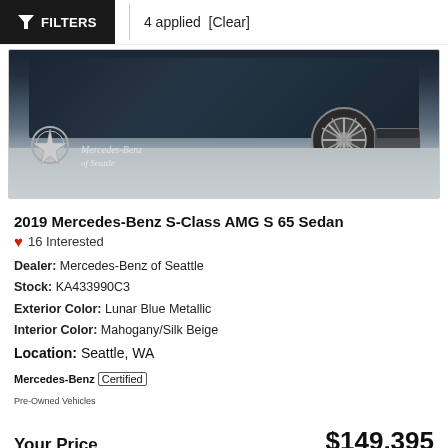FILTERS  4 applied [Clear]
[Figure (photo): Front exterior photo of a 2019 Mercedes-Benz S-Class AMG S 65 Sedan in Lunar Blue Metallic, taken from above/front angle, with Mercedes-Benz of Seattle dealership logo and watermark overlay.]
2019 Mercedes-Benz S-Class AMG S 65 Sedan
❤ 16 Interested
Dealer: Mercedes-Benz of Seattle
Stock: KA433990C3
Exterior Color: Lunar Blue Metallic
Interior Color: Mahogany/Silk Beige
Location: Seattle, WA
Mercedes-Benz Certified Pre-Owned Vehicles
Your Price  $149,395